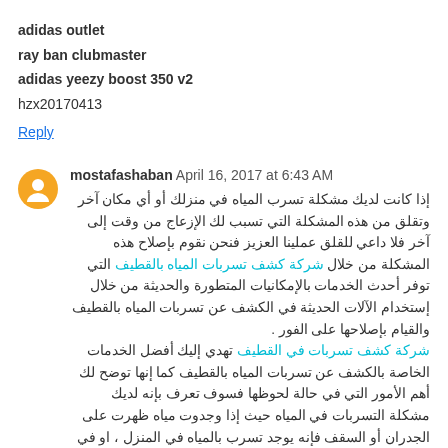adidas outlet
ray ban clubmaster
adidas yeezy boost 350 v2
hzx20170413
Reply
mostafashaban  April 16, 2017 at 6:43 AM
إذا كانت لديك مشكلة تسرب المياه في منزلك أو أي مكان آخر وتقلق من هذه المشكلة التي تسبب لك الإزعاج من وقت إلى آخر فلا داعي للقلق عملينا العزيز فنحن نقوم بإصلاح هذه المشكلة من خلال شركة كشف تسربات المياه بالقطيف التي توفر أحدث الخدمات بالإمكانيات المتطورة والحديثة من خلال إستخدام الآلات الحديثة في الكشف عن تسربات المياه بالقطيف والقيام بإصلاحها على الفور .
شركة كشف تسربات في القطيف تهدي إليك أفضل الخدمات الخاصة بالكشف عن تسربات المياه بالقطيف كما إنها توضح لك أهم الأمور التي في حالة لحوظها فسوف تعرف بإنه لديك مشكلة التسربات في المياه حيث إذا وجدوت مياه ظهرت على الجدران أو السقف فإنه يوجد تسرب بالمياه في المنزل ، او في حالة إذا وجدت زيادة في فاتورة المياه الخاصة بك عن الشهر الذي قبله وزيادة كبيرة فإنه يوجد تسرب بالمياه الإصلاح الفوري